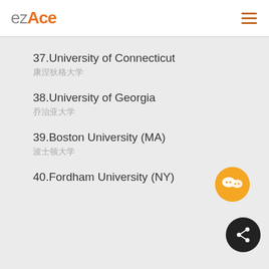ezAce
37.University of Connecticut
（Chinese characters）
38.University of Georgia
（Chinese characters）
39.Boston University (MA)
（Chinese characters）
40.Fordham University (NY)